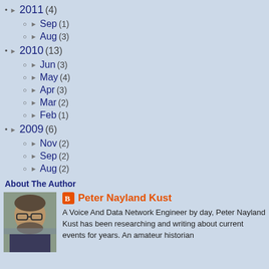► 2011 (4)
► Sep (1)
► Aug (3)
► 2010 (13)
► Jun (3)
► May (4)
► Apr (3)
► Mar (2)
► Feb (1)
► 2009 (6)
► Nov (2)
► Sep (2)
► Aug (2)
About The Author
Peter Nayland Kust
A Voice And Data Network Engineer by day, Peter Nayland Kust has been researching and writing about current events for years. An amateur historian